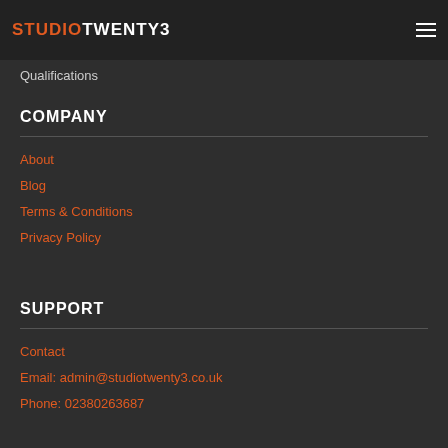STUDIOTWENTY3
Qualifications
COMPANY
About
Blog
Terms & Conditions
Privacy Policy
SUPPORT
Contact
Email: admin@studiotwenty3.co.uk
Phone: 02380263687